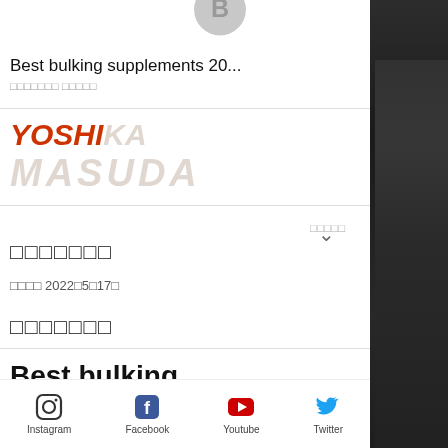[Figure (screenshot): Profile avatar circle with letter B, partially visible at top]
Best bulking supplements 20...
YOSHIKA
MASUDA
□□□□□□□
□□□□ 2022□5□17□
□□□□□□□
Best bulking supplements 2022, login crazy bulk
[Figure (infographic): Social media icons bar: Instagram, Facebook, Youtube, Twitter]